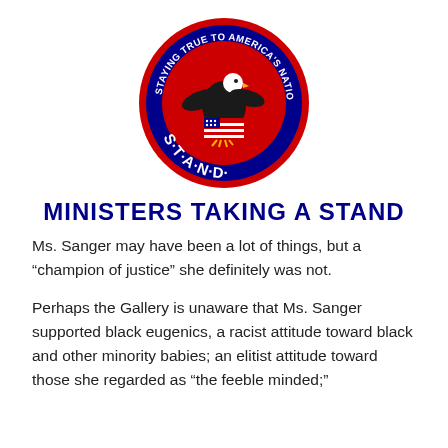[Figure (logo): Circular S.T.A.N.D. logo with a bald eagle on an American flag background, red outer ring, blue inner ring with text 'STAYING TRUE TO AMERICA'S NATIONAL DESTINY' and 'S.T.A.N.D.' at the bottom]
MINISTERS TAKING A STAND
Ms. Sanger may have been a lot of things, but a “champion of justice” she definitely was not.
Perhaps the Gallery is unaware that Ms. Sanger supported black eugenics, a racist attitude toward black and other minority babies; an elitist attitude toward those she regarded as “the feeble minded;”